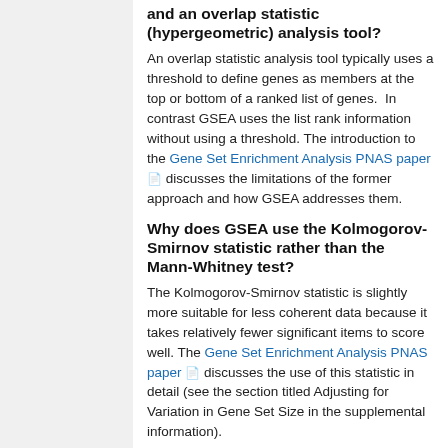and an overlap statistic (hypergeometric) analysis tool?
An overlap statistic analysis tool typically uses a threshold to define genes as members at the top or bottom of a ranked list of genes.  In contrast GSEA uses the list rank information without using a threshold. The introduction to the Gene Set Enrichment Analysis PNAS paper discusses the limitations of the former approach and how GSEA addresses them.
Why does GSEA use the Kolmogorov-Smirnov statistic rather than the Mann-Whitney test?
The Kolmogorov-Smirnov statistic is slightly more suitable for less coherent data because it takes relatively fewer significant items to score well. The Gene Set Enrichment Analysis PNAS paper discusses the use of this statistic in detail (see the section titled Adjusting for Variation in Gene Set Size in the supplemental information).
How does GSEA rank the genes in my